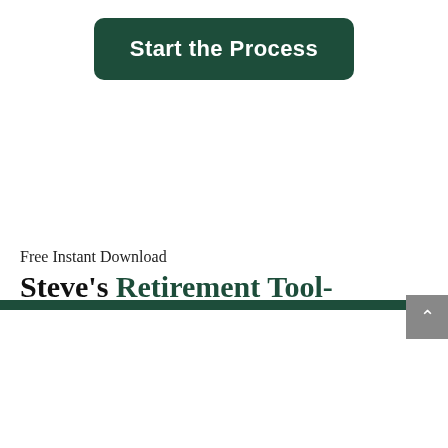Start the Process
Free Instant Download
Steve's Retirement Tool-
FREE: Ultimate Retirement Kit!
Get Kit
[Figure (logo): Media logos row: FOX HD Business, abc 15, MONEY RADIO 1510 AM 105.3 FM, As Seen on TV]